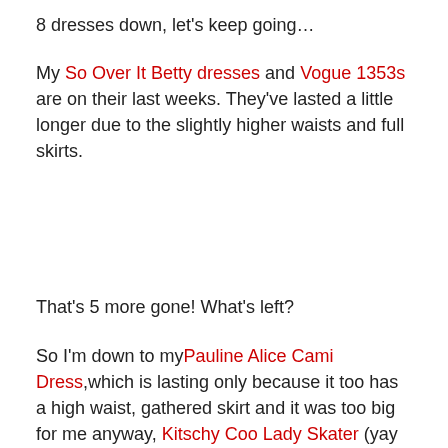8 dresses down, let's keep going…
My So Over It Betty dresses and Vogue 1353s are on their last weeks. They've lasted a little longer due to the slightly higher waists and full skirts.
That's 5 more gone! What's left?
So I'm down to myPauline Alice Cami Dress,which is lasting only because it too has a high waist, gathered skirt and it was too big for me anyway, Kitschy Coo Lady Skater (yay for stretchy merino) andPapercut Clover dress which is great worn with a high belt. I only ever made one each of